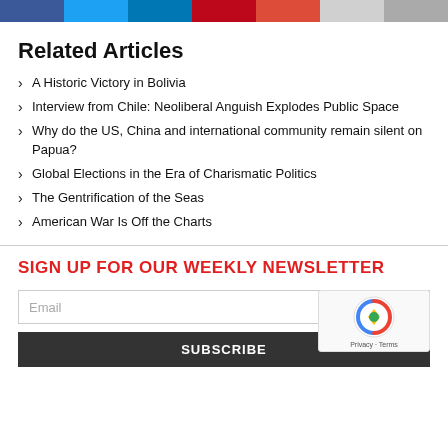[Figure (other): Social media sharing buttons bar: Facebook (blue), Twitter (light blue), LinkedIn (dark blue), Pinterest (red), Google+ (orange-red), Email (light gray), Print (gray)]
Related Articles
A Historic Victory in Bolivia
Interview from Chile: Neoliberal Anguish Explodes Public Space
Why do the US, China and international community remain silent on Papua?
Global Elections in the Era of Charismatic Politics
The Gentrification of the Seas
American War Is Off the Charts
SIGN UP FOR OUR WEEKLY NEWSLETTER
Email
SUBSCRIBE